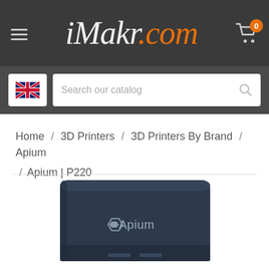[Figure (screenshot): iMakr.com website header with hamburger menu, logo, and cart icon with badge showing 0]
[Figure (screenshot): Search bar area with UK flag selector and 'Search our catalog' input with search icon]
Home / 3D Printers / 3D Printers By Brand / Apium / Apium | P220
[Figure (photo): Apium P220 3D printer, dark navy blue color with Apium logo on front, partially cropped at bottom of page]